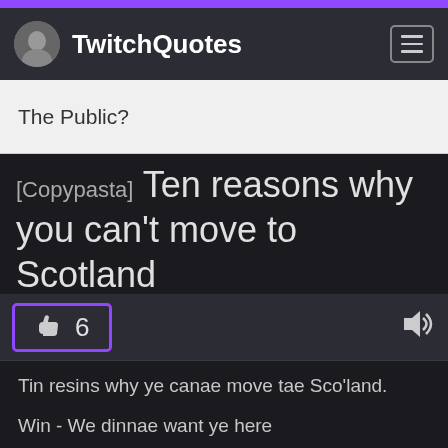TwitchQuotes
The Public?
[Copypasta] Ten reasons why you can't move to Scotland
👍 6
Tin resins why ye canae move tae Sco'land.
Win - We dinnae want ye here